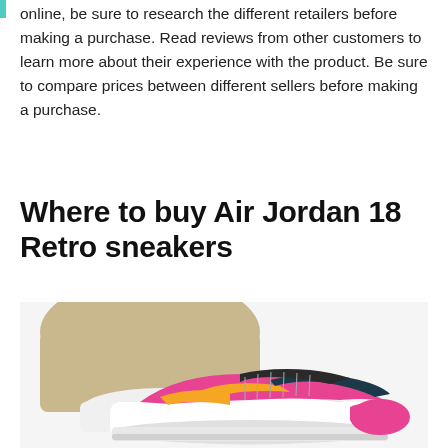online, be sure to research the different retailers before making a purchase. Read reviews from other customers to learn more about their experience with the product. Be sure to compare prices between different sellers before making a purchase.
Where to buy Air Jordan 18 Retro sneakers
[Figure (photo): Photo of a person wearing Air Jordan 18 Retro sneakers in pink, white, yellow and dark colors, with khaki pants and white socks, on a light/white background.]